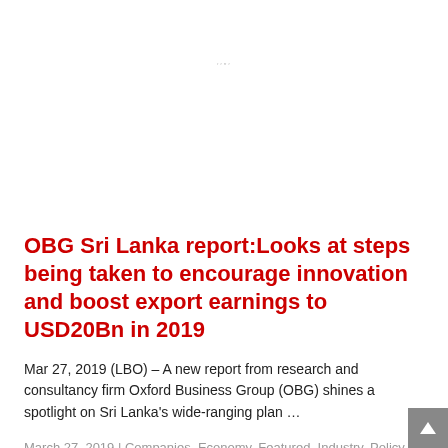[Figure (logo): Small italic logo or watermark text in light gray at top center]
OBG Sri Lanka report:Looks at steps being taken to encourage innovation and boost export earnings to USD20Bn in 2019
Mar 27, 2019 (LBO) – A new report from research and consultancy firm Oxford Business Group (OBG) shines a spotlight on Sri Lanka's wide-ranging plan …
March 27, 2019 | Companies, Economy, Featured, Industry, Policy, Technology, Tourism, Trade | Read More